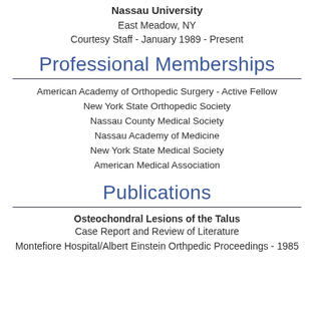Nassau University
East Meadow, NY
Courtesy Staff - January 1989 - Present
Professional Memberships
American Academy of Orthopedic Surgery - Active Fellow
New York State Orthopedic Society
Nassau County Medical Society
Nassau Academy of Medicine
New York State Medical Society
American Medical Association
Publications
Osteochondral Lesions of the Talus
Case Report and Review of Literature
Montefiore Hospital/Albert Einstein Orthpedic Proceedings - 1985